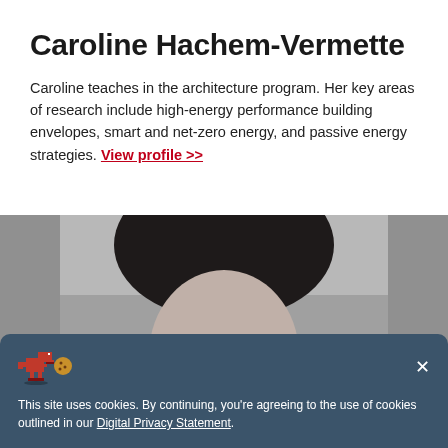Caroline Hachem-Vermette
Caroline teaches in the architecture program. Her key areas of research include high-energy performance building envelopes, smart and net-zero energy, and passive energy strategies. View profile >>
[Figure (photo): Black and white portrait photo of Caroline Hachem-Vermette, showing top of head with dark hair, partially covered by a cookie consent banner overlay]
This site uses cookies. By continuing, you're agreeing to the use of cookies outlined in our Digital Privacy Statement.